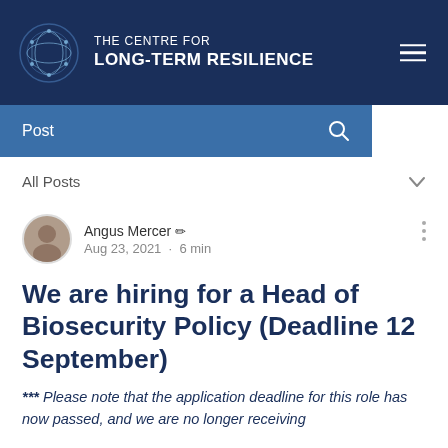THE CENTRE FOR LONG-TERM RESILIENCE
Post
All Posts
Angus Mercer · Aug 23, 2021 · 6 min
We are hiring for a Head of Biosecurity Policy (Deadline 12 September)
*** Please note that the application deadline for this role has now passed, and we are no longer receiving